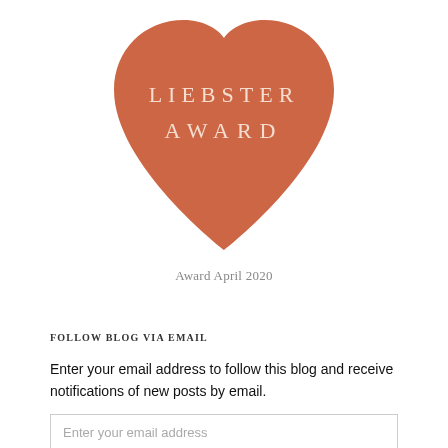[Figure (illustration): Orange heart shape with 'LIEBSTER AWARD' text in white letters centered inside the heart]
Award April 2020
Follow Blog via Email
Enter your email address to follow this blog and receive notifications of new posts by email.
Enter your email address